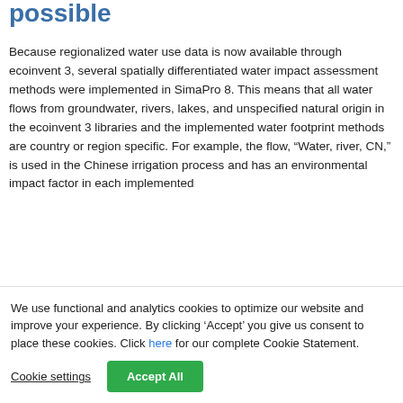possible
Because regionalized water use data is now available through ecoinvent 3, several spatially differentiated water impact assessment methods were implemented in SimaPro 8. This means that all water flows from groundwater, rivers, lakes, and unspecified natural origin in the ecoinvent 3 libraries and the implemented water footprint methods are country or region specific. For example, the flow, “Water, river, CN,” is used in the Chinese irrigation process and has an environmental impact factor in each implemented
We use functional and analytics cookies to optimize our website and improve your experience. By clicking ‘Accept’ you give us consent to place these cookies. Click here for our complete Cookie Statement.
Cookie settings    Accept All